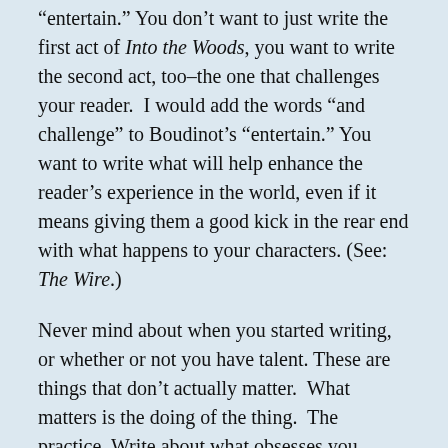“entertain.” You don’t want to just write the first act of Into the Woods, you want to write the second act, too–the one that challenges your reader.  I would add the words “and challenge” to Boudinot’s “entertain.” You want to write what will help enhance the reader’s experience in the world, even if it means giving them a good kick in the rear end with what happens to your characters. (See: The Wire.)
Never mind about when you started writing, or whether or not you have talent. These are things that don’t actually matter.  What matters is the doing of the thing.  The practice. Write about what obsesses you, entertains and fascinates you*, challenges you, convicts you, pisses you off, and makes you cry or laugh or both at the drop of a hat.  If you write for validation or anything else besides the chance to make connections between the people, ideas, and things you care most about, you are shortchanging yourself